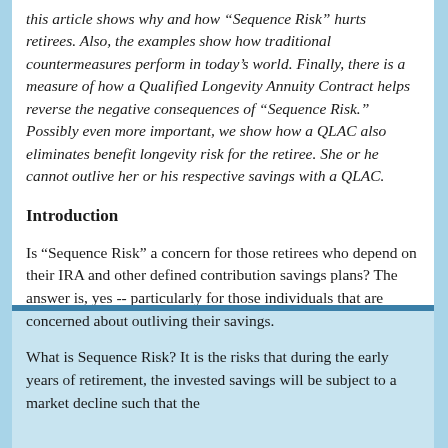this article shows why and how “Sequence Risk” hurts retirees.  Also, the examples show how traditional countermeasures perform in today’s world.  Finally, there is a measure of how a Qualified Longevity Annuity Contract helps reverse the negative consequences of “Sequence Risk.”  Possibly even more important, we show how a QLAC also eliminates benefit longevity risk for the retiree.  She or he cannot outlive her or his respective savings with a QLAC.
Introduction
Is “Sequence Risk” a concern for those retirees who depend on their IRA and other defined contribution savings plans?  The answer is, yes -- particularly for those individuals that are concerned about outliving their savings.
What is Sequence Risk?  It is the risks that during the early years of retirement, the invested savings will be subject to a market decline such that the